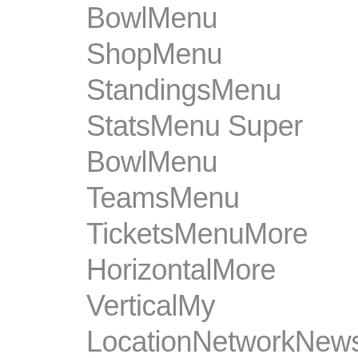BowlMenu ShopMenu StandingsMenu StatsMenu Super BowlMenu TeamsMenu TicketsMenuMore HorizontalMore VerticalMy LocationNetworkNewsPauseplay Multiple PlayersSingle PlayerPlaylistPlayoffsPro BowlPurgeRefreshRemoveReplay SearchSettingsShare AndroidShare Copy URLShare EmailShare FacebookShare InstagramShare iOSShare SnapchatShare TwitterSkip NextSkip